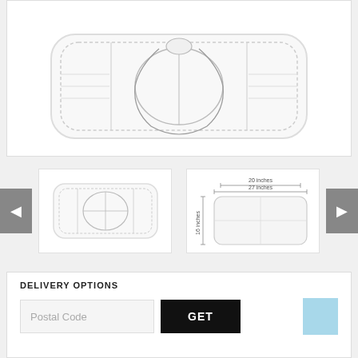[Figure (photo): Main product image of a rectangular white pillow with stitched oval and face outline design, shown from front on white background]
[Figure (photo): Thumbnail 1: Front view of white pillow with oval and cross stitching pattern]
[Figure (engineering-diagram): Thumbnail 2: Dimensional diagram of pillow showing measurements: 20 inches width, 27 inches length, 16 inches height]
DELIVERY OPTIONS
Postal Code
GET